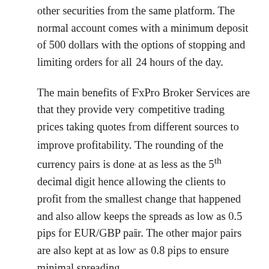other securities from the same platform. The normal account comes with a minimum deposit of 500 dollars with the options of stopping and limiting orders for all 24 hours of the day.
The main benefits of FxPro Broker Services are that they provide very competitive trading prices taking quotes from different sources to improve profitability. The rounding of the currency pairs is done at as less as the 5th decimal digit hence allowing the clients to profit from the smallest change that happened and also allow keeps the spreads as low as 0.5 pips for EUR/GBP pair. The other major pairs are also kept at as low as 0.8 pips to ensure minimal spreading.
The other important aspect is that huge platform support of the FxPro Broker, which comes with Web Trading platforms for normal users and also MT4 multi terminal trading for the special users. For